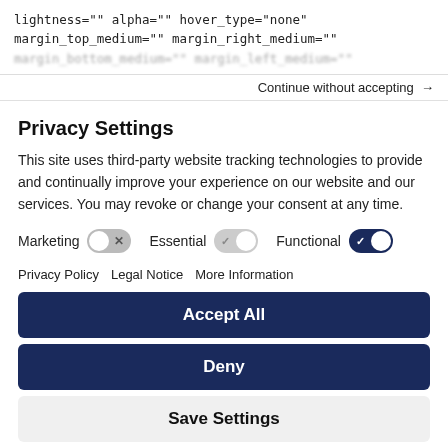lightness="" alpha="" hover_type="none"
margin_top_medium="" margin_right_medium=""
margin_bottom_medium="" margin_left_medium=""
Continue without accepting →
Privacy Settings
This site uses third-party website tracking technologies to provide and continually improve your experience on our website and our services. You may revoke or change your consent at any time.
Marketing [toggle off]   Essential [toggle gray]   Functional [toggle on]
Privacy Policy   Legal Notice   More Information
Accept All
Deny
Save Settings
Powered by Usercentrics Consent Management